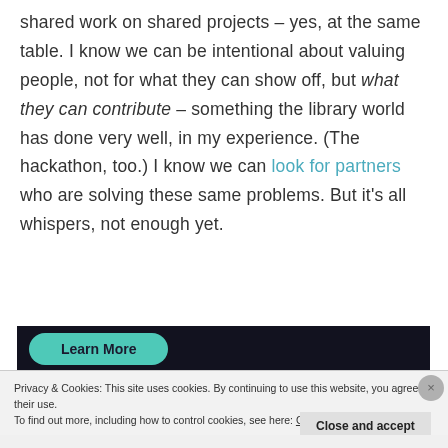shared work on shared projects – yes, at the same table. I know we can be intentional about valuing people, not for what they can show off, but what they can contribute – something the library world has done very well, in my experience. (The hackathon, too.) I know we can look for partners who are solving these same problems. But it's all whispers, not enough yet.
[Figure (screenshot): Dark banner with a teal 'Learn More' button]
Privacy & Cookies: This site uses cookies. By continuing to use this website, you agree to their use.
To find out more, including how to control cookies, see here: Cookie Policy
Close and accept